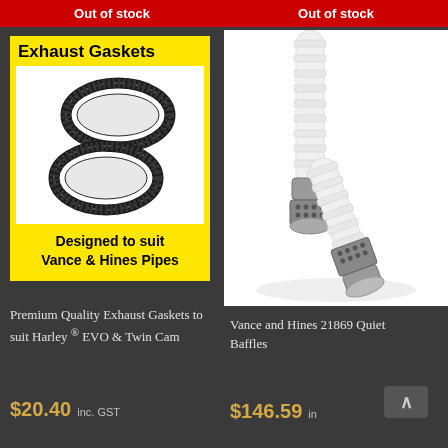[Figure (photo): Yellow product card showing two black exhaust gasket rings on white background, with text 'Premium Quality Exhaust Gaskets' and 'Designed to suit Vance & Hines Pipes']
Out of stock
Premium Quality Exhaust Gaskets to suit Harley ® EVO & Twin Cam
$20.40 inc. GST
[Figure (photo): Photo of white wrapped exhaust pipe baffles with perforated metal tips - Vance and Hines 21869 Quiet Baffles]
Out of stock
Vance and Hines 21869 Quiet Baffles
$146.59 inc. GST